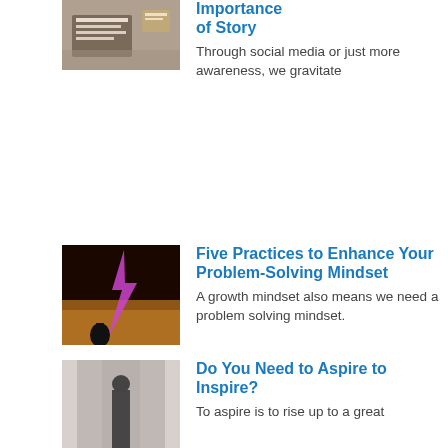[Figure (photo): Thumbnail photo - notebook/desk scene]
Importance of Story
Through social media or just more awareness, we gravitate
[Figure (photo): Thumbnail photo - lightning bolt in night sky over silhouette]
Five Practices to Enhance Your Problem-Solving Mindset
A growth mindset also means we need a problem solving mindset.
[Figure (photo): Thumbnail photo - person walking in corridor]
Do You Need to Aspire to Inspire?
To aspire is to rise up to a great